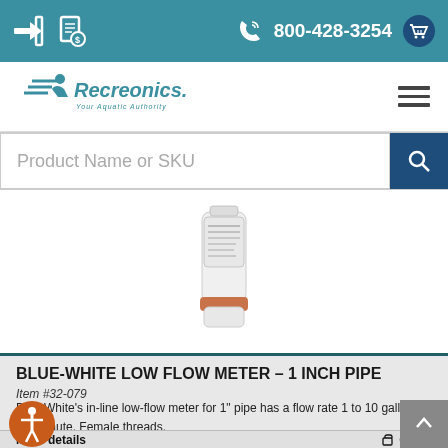800-428-3254
[Figure (logo): Recreonics logo with aquatic authority tagline]
Product Name or SKU
[Figure (photo): Blue-White low flow meter product photo — white cylindrical meter with red/copper ring at bottom]
BLUE-WHITE LOW FLOW METER – 1 INCH PIPE
Item #32-079
Blue-White's in-line low-flow meter for 1" pipe has a flow rate 1 to 10 gallons per minute. Female threads.
More details
Order